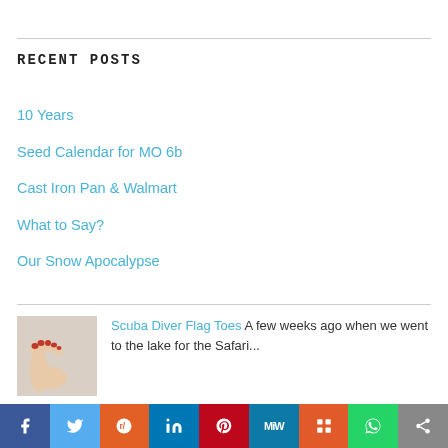RECENT POSTS
10 Years
Seed Calendar for MO 6b
Cast Iron Pan & Walmart
What to Say?
Our Snow Apocalypse
[Figure (photo): Thumbnail photo of feet with red toenails on a light sandy background]
Scuba Diver Flag Toes A few weeks ago when we went to the lake for the Safari...